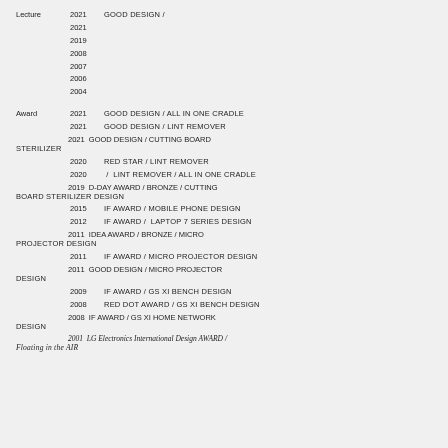Lecture  2021  GOOD DESIGN /
2021
2019
2008
2007
2006
2004
Award  2021  GOOD DESIGN / ALL IN ONE CRADLE
2021  GOOD DESIGN / LINT REMOVER
2021  GOOD DESIGN / CUTTING BOARD STERILIZER
2020  RED STAR / LINT REMOVER
2020  /  LINT REMOVER / ALL IN ONE CRADLE
2019  D-DAY AWARD / BRONZE / CUTTING BOARD STERILIZER DESIGN
2015  IF AWARD / MOBILE PHONE DESIGN
2012  IF AWARD /  LAPTOP 7 SERIES DESIGN
2011  IDEA AWARD / BRONZE / MICRO PROJECTOR DESIGN
2011  IF AWARD / MICRO PROJECTOR DESIGN
2011  GOOD DESIGN / MICRO PROJECTOR DESIGN
2009  IF AWARD  / GS XI BENCH DESIGN
2008  RED DOT AWARD / GS XI BENCH DESIGN
2008  IF AWARD / GS XI HOME NETWORK DESIGN
2001  LG Electronics International Design AWARD / Floating in the AIR